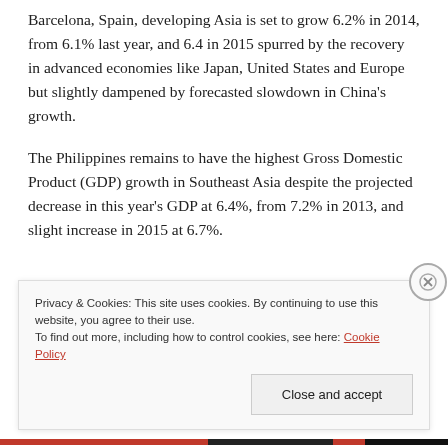Barcelona, Spain, developing Asia is set to grow 6.2% in 2014, from 6.1% last year, and 6.4 in 2015 spurred by the recovery in advanced economies like Japan, United States and Europe but slightly dampened by forecasted slowdown in China's growth.
The Philippines remains to have the highest Gross Domestic Product (GDP) growth in Southeast Asia despite the projected decrease in this year's GDP at 6.4%, from 7.2% in 2013, and slight increase in 2015 at 6.7%.
Privacy & Cookies: This site uses cookies. By continuing to use this website, you agree to their use.
To find out more, including how to control cookies, see here: Cookie Policy
Close and accept